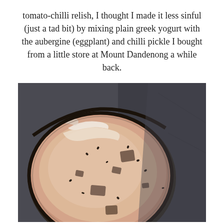tomato-chilli relish, I thought I made it less sinful (just a tad bit) by mixing plain greek yogurt with the aubergine (eggplant) and chilli pickle I bought from a little store at Mount Dandenong a while back.
[Figure (photo): Overhead photo of a bowl containing a pinkish-beige creamy yogurt dip with chunks of aubergine/eggplant pickle visible, dark spices scattered throughout, bowl has a brown rim, placed on a dark grey slate surface]